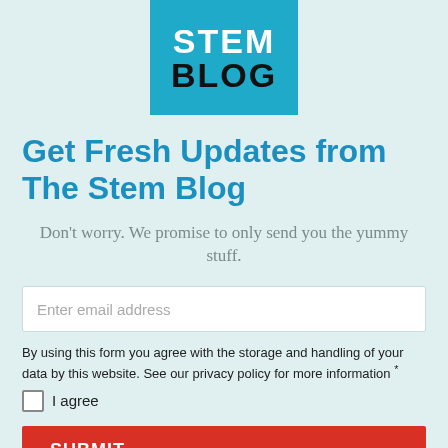[Figure (logo): STEM BLOG logo — teal/cyan background with white bold text 'STEM' on top and black bold text 'BLOG' below]
Get Fresh Updates from The Stem Blog
Don't worry. We promise to only send you the yummy stuff.
Enter email address
By using this form you agree with the storage and handling of your data by this website. See our privacy policy for more information *
I agree
SUBMIT